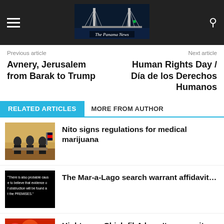The Panama News
Previous article
Next article
Avnery, Jerusalem from Barak to Trump
Human Rights Day / Día de los Derechos Humanos
RELATED ARTICLES
MORE FROM AUTHOR
[Figure (photo): Photo of people in formal meeting room]
Nito signs regulations for medical marijuana
[Figure (screenshot): Black background with white legal text about probable cause and obstruction]
The Mar-a-Lago search warrant affidavit…
[Figure (photo): Colorful image partially visible at bottom]
Hightower, Chick-fil-A hasn't gone quite